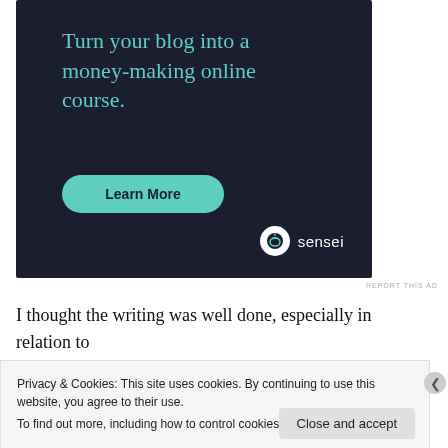[Figure (other): Advertisement banner with dark navy background. Large teal text reads 'Turn your blog into a money-making online course.' with a teal rounded 'Learn More' button and a 'sensei' logo in the bottom right.]
REPORT THIS AD
I thought the writing was well done, especially in relation to dialogue and characterization. I loved how Zahei ways in...
Privacy & Cookies: This site uses cookies. By continuing to use this website, you agree to their use.
To find out more, including how to control cookies, see here: Cookie Policy
Close and accept